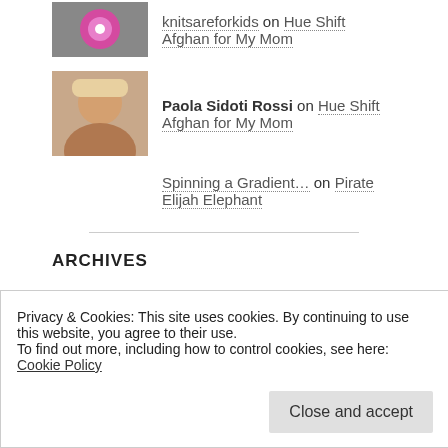knitsareforkids on Hue Shift Afghan for My Mom
Paola Sidoti Rossi on Hue Shift Afghan for My Mom
Spinning a Gradient... on Pirate Elijah Elephant
ARCHIVES
September 2018
March 2017
Privacy & Cookies: This site uses cookies. By continuing to use this website, you agree to their use.
To find out more, including how to control cookies, see here: Cookie Policy
Close and accept